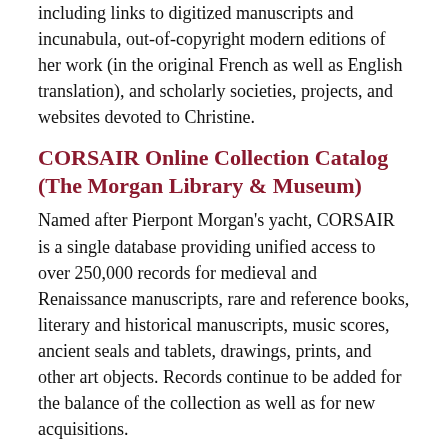including links to digitized manuscripts and incunabula, out-of-copyright modern editions of her work (in the original French as well as English translation), and scholarly societies, projects, and websites devoted to Christine.
CORSAIR Online Collection Catalog (The Morgan Library & Museum)
Named after Pierpont Morgan's yacht, CORSAIR is a single database providing unified access to over 250,000 records for medieval and Renaissance manuscripts, rare and reference books, literary and historical manuscripts, music scores, ancient seals and tablets, drawings, prints, and other art objects. Records continue to be added for the balance of the collection as well as for new acquisitions.
The depth of detail is unusual for an online catalog. Many records include summaries of the content of individual letters, lengthy notes about provenance, and detailed descriptions of bindings. Specialized indexes enable researchers to find all of the Morgan's holdings associated with a given name, date, or place. For example, with a single search a scholar interested in